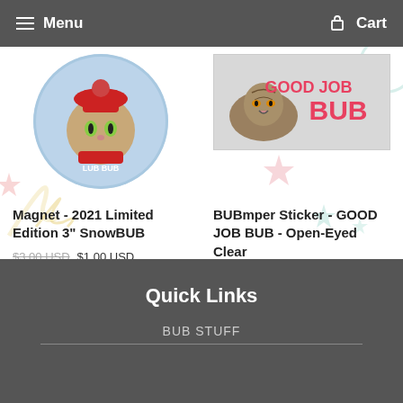Menu | Cart
[Figure (photo): Circular magnet showing a cartoon cat wearing a red knit hat and scarf, with 'LUB BUB' text, holiday themed, blue snowy background]
[Figure (photo): Bumper sticker image showing a real tabby cat with text 'GOOD JOB BUB' in large pink/red bold letters on light gray background]
Magnet - 2021 Limited Edition 3" SnowBUB
$3.00 USD $1.00 USD
BUBmper Sticker - GOOD JOB BUB - Open-Eyed Clear
$3.00 USD
Quick Links
BUB STUFF